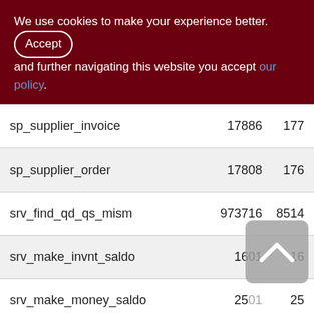We use cookies to make your experience better. By accepting and further navigating this website you accept our policy.
| Name | Col1 | Col2 |
| --- | --- | --- |
| sp_supplier_invoice | 17886 | 177 |
| sp_supplier_order | 17808 | 176 |
| srv_find_qd_qs_mism | 973716 | 8514 |
| srv_make_invnt_saldo | 1601 | 16 |
| srv_make_money_saldo | 2501 | 25 |